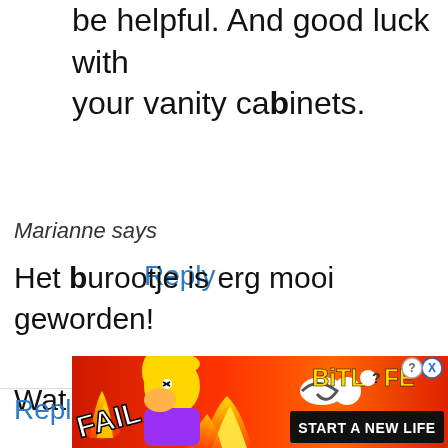be helpful. And good luck with your vanity cabinets.
Reply
Marianne says
Het burootje is erg mooi geworden! Wat een werk! Prettig weekend! Marianne.
Reply
[Figure (screenshot): BitLife advertisement banner with red/orange fire background, FAIL text, cartoon character, flames, BitLife logo in yellow, and 'START A NEW LIFE' text on black background]